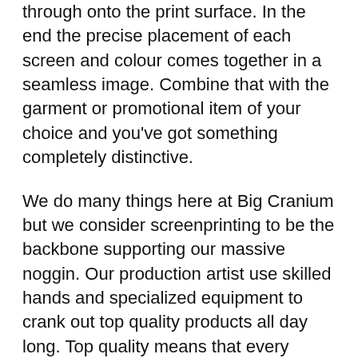through onto the print surface. In the end the precise placement of each screen and colour comes together in a seamless image. Combine that with the garment or promotional item of your choice and you've got something completely distinctive.
We do many things here at Big Cranium but we consider screenprinting to be the backbone supporting our massive noggin. Our production artist use skilled hands and specialized equipment to crank out top quality products all day long. Top quality means that every image we produce for our customers is checked for accuracy and consistency. We also use durable, long lasting inks in our printing. Your beloved design will not crack and peal off in the wash, in fact, in most cases the image will out last the garment.